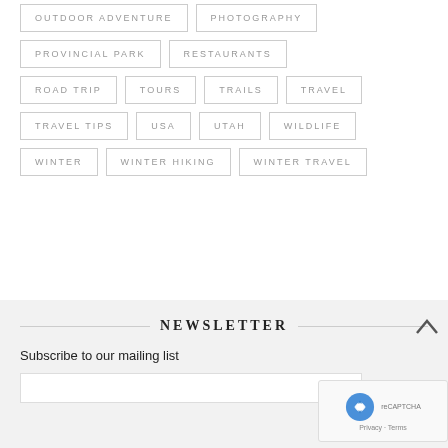OUTDOOR ADVENTURE
PHOTOGRAPHY
PROVINCIAL PARK
RESTAURANTS
ROAD TRIP
TOURS
TRAILS
TRAVEL
TRAVEL TIPS
USA
UTAH
WILDLIFE
WINTER
WINTER HIKING
WINTER TRAVEL
NEWSLETTER
Subscribe to our mailing list